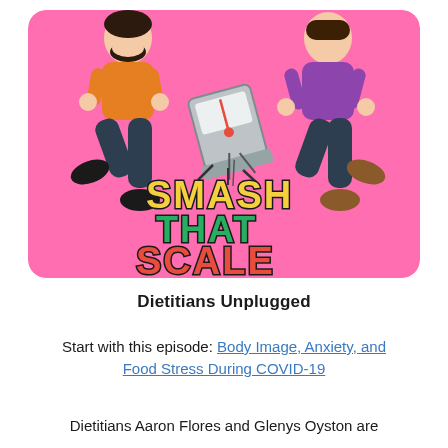[Figure (illustration): Illustration on pink background with rounded corners showing two cartoon people kicking a bathroom scale. One person wears an orange shirt and dark pants, the other wears a purple shirt and dark pants. The scale is tilted and breaking in the middle. Text on the image reads 'SMASH THAT SCALE' in large bold letters: SMASH in yellow, THAT in green, SCALE in red. This is the podcast artwork for 'Smash That Scale'.]
Dietitians Unplugged
Start with this episode: Body Image, Anxiety, and Food Stress During COVID-19
Dietitians Aaron Flores and Glenys Oyston are